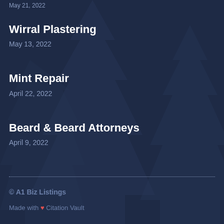May 21, 2022
Wirral Plastering
May 13, 2022
Mint Repair
April 22, 2022
Beard & Beard Attorneys
April 9, 2022
© A1 Biz Listings
Made with ❤ Citation Vault